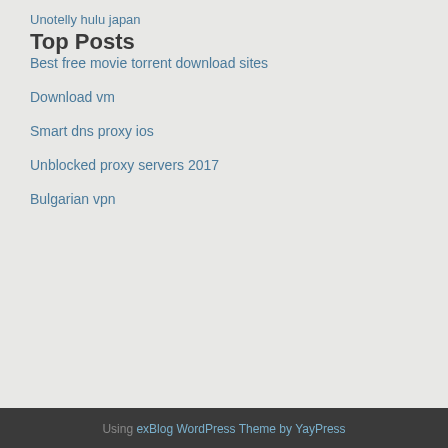Unotelly hulu japan
Top Posts
Best free movie torrent download sites
Download vm
Smart dns proxy ios
Unblocked proxy servers 2017
Bulgarian vpn
Using exBlog WordPress Theme by YayPress